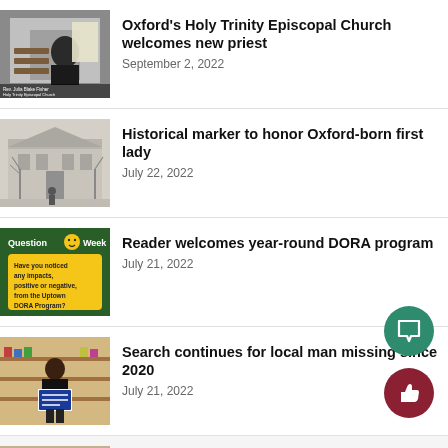[Figure (photo): Screenshot of a person seated in a church pew, with caption 'Rev. Julia Blake Fisher, Holy Trinity Episcopal Church']
Oxford's Holy Trinity Episcopal Church welcomes new priest
September 2, 2022
[Figure (photo): Black and white photo of a historic building, presumably in Oxford]
Historical marker to honor Oxford-born first lady
July 22, 2022
[Figure (photo): Green card with 'Question of the Week' text and yellow box asking about DORA program impacts]
Reader welcomes year-round DORA program
July 21, 2022
[Figure (photo): Photo of a person standing in a store holding a sign]
Search continues for local man missing since 2020
July 21, 2022
Health inspectors find problems at three